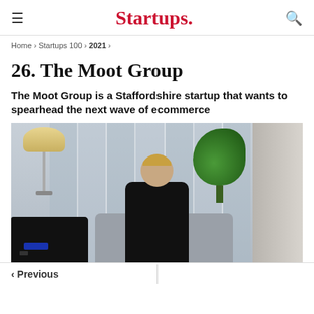Startups.
Home > Startups 100 > 2021 >
26. The Moot Group
The Moot Group is a Staffordshire startup that wants to spearhead the next wave of ecommerce
[Figure (photo): A man in a black t-shirt sitting at a table in a modern office/lounge setting with vertical blinds, a lamp, and a monstera plant in the background.]
< Previous